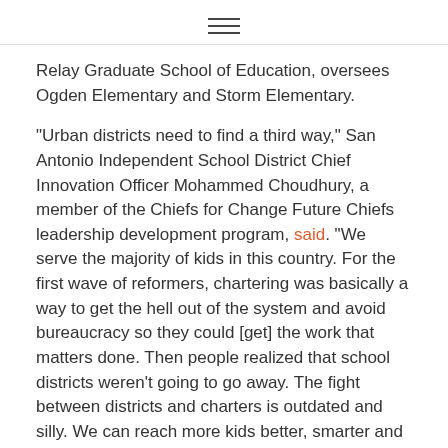≡
Relay Graduate School of Education, oversees Ogden Elementary and Storm Elementary.
“Urban districts need to find a third way,” San Antonio Independent School District Chief Innovation Officer Mohammed Choudhury, a member of the Chiefs for Change Future Chiefs leadership development program, said. “We serve the majority of kids in this country. For the first wave of reformers, chartering was basically a way to get the hell out of the system and avoid bureaucracy so they could [get] the work that matters done. Then people realized that school districts weren’t going to go away. The fight between districts and charters is outdated and silly. We can reach more kids better, smarter and faster if we stop fighting.”